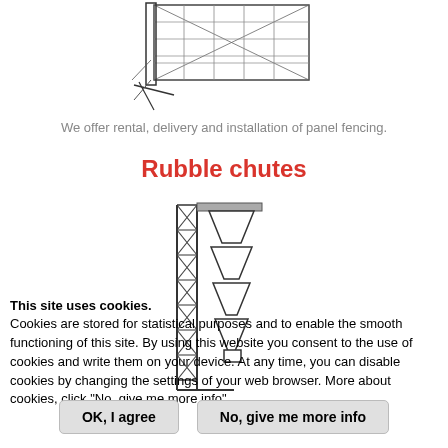[Figure (illustration): Line drawing of panel fencing viewed from an angle, showing metal mesh panels with support feet.]
We offer rental, delivery and installation of panel fencing.
Rubble chutes
[Figure (illustration): Line drawing of a rubble chute system showing a vertical scaffold tower with a series of funnel-shaped chute sections stacked vertically.]
This site uses cookies.
Cookies are stored for statistical purposes and to enable the smooth functioning of this site. By using this website you consent to the use of cookies and write them on your device. At any time, you can disable cookies by changing the settings of your web browser. More about cookies, click "No, give me more info"